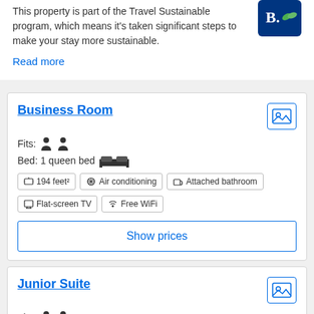This property is part of the Travel Sustainable program, which means it's taken significant steps to make your stay more sustainable.
Read more
Business Room
Fits: [2 person icons]
Bed: 1 queen bed
194 feet²
Air conditioning
Attached bathroom
Flat-screen TV
Free WiFi
Show prices
Junior Suite
Fits: [2 person icons]